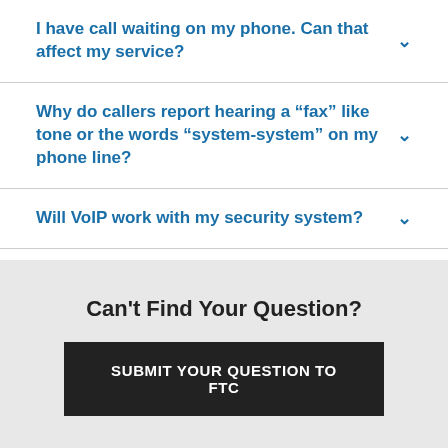I have call waiting on my phone. Can that affect my service?
Why do callers report hearing a “fax” like tone or the words “system-system” on my phone line?
Will VoIP work with my security system?
Can't Find Your Question?
SUBMIT YOUR QUESTION TO FTC